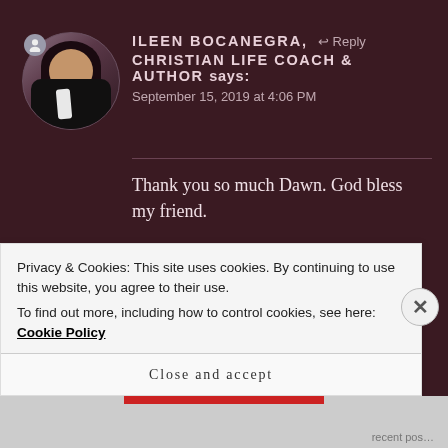[Figure (photo): Circular avatar photo of Ileen Bocanegra, a woman with dark hair wearing a black jacket. Small profile icon badge in top-left of circle.]
ILEEN BOCANEGRA, CHRISTIAN LIFE COACH & AUTHOR says:
↩ Reply
September 15, 2019 at 4:06 PM
Thank you so much Dawn. God bless my friend.
★ Liked by 1 person
Privacy & Cookies: This site uses cookies. By continuing to use this website, you agree to their use.
To find out more, including how to control cookies, see here: Cookie Policy
Close and accept